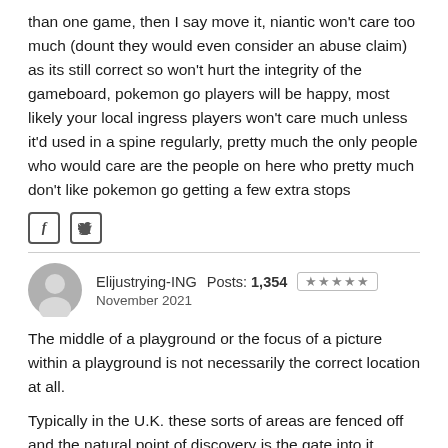than one game, then I say move it, niantic won't care too much (dount they would even consider an abuse claim) as its still correct so won't hurt the integrity of the gameboard, pokemon go players will be happy, most likely your local ingress players won't care much unless it'd used in a spine regularly, pretty much the only people who would care are the people on here who pretty much don't like pokemon go getting a few extra stops
[Figure (other): Social share icons: Facebook (f) and Twitter (bird) icon buttons]
Elijustrying-ING  Posts: 1,354  ★★★★★  November 2021
The middle of a playground or the focus of a picture within a playground is not necessarily the correct location at all.
Typically in the U.K. these sorts of areas are fenced off and the natural point of discovery is the gate into it. There are different play areas that are much larger, unfenced, where putting the pin on the object makes sense.
So you have to consider each case carefully. That's why we have